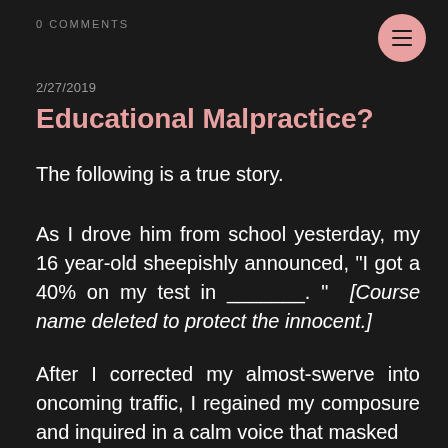0 COMMENTS
2/27/2019
Educational Malpractice?
The following is a true story.
As I drove him from school yesterday, my 16 year-old sheepishly announced, "I got a 40% on my test in _______."  [Course name deleted to protect the innocent.]
After I corrected my almost-swerve into oncoming traffic, I regained my composure and inquired in a calm voice that masked